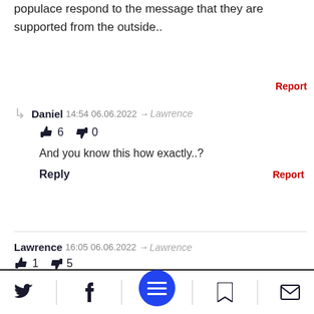populace respond to the message that they are supported from the outside..
Report
Daniel 14:54 06.06.2022 → Lawrence
👍 6   👎 0
And you know this how exactly..?
Reply   Report
Lawrence 16:05 06.06.2022 → Lawrence
👍 1   👎 5
The Mullahs are terribly frightened by ou...rces such as the